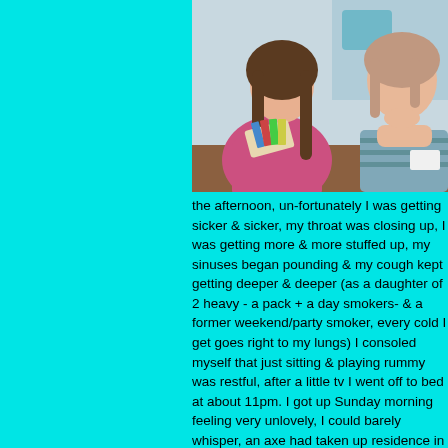[Figure (photo): Two girls sitting at a table playing cards. The girl on the left holds a hand of cards wearing a pink top, the girl on the right rests her chin on her hand wearing a striped shirt.]
the afternoon, un-fortunately I was getting sicker & sicker, my throat was closing up, I was getting more & more stuffed up, my sinuses began pounding & my cough kept getting deeper & deeper (as a daughter of 2 heavy - a pack + a day smokers- & a former weekend/party smoker, every cold I get goes right to my lungs) I consoled myself that just sitting & playing rummy was restful, after a little tv I went off to bed at about 11pm. I got up Sunday morning feeling very unlovely, I could barely whisper, an axe had taken up residence in the center of my forehead & I couldn't breathe at all Man, I have read some bloggers who described their colds in